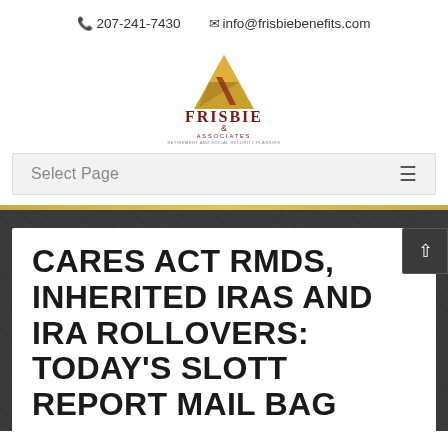📞 207-241-7430   ✉ info@frisbiebenefits.com
[Figure (logo): Frisbie & Associates logo — gold triangle above text reading FRISBIE & ASSOCIATES, RETIREMENT AND SOCIAL SECURITY PLANNING]
Select Page  ≡
CARES ACT RMDS, INHERITED IRAS AND IRA ROLLOVERS: TODAY'S SLOTT REPORT MAIL BAG